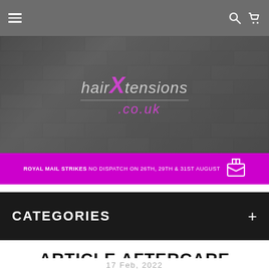Navigation bar with hamburger menu, search, and cart icons
[Figure (logo): hairXtensions.co.uk logo on brick wall background in grey and pink/purple]
ROYAL MAIL STRIKES NO DISPATCH ON 26TH, 29TH & 31ST AUGUST
CATEGORIES
ARTICLE AFTERCARE
17 Feb, 2022